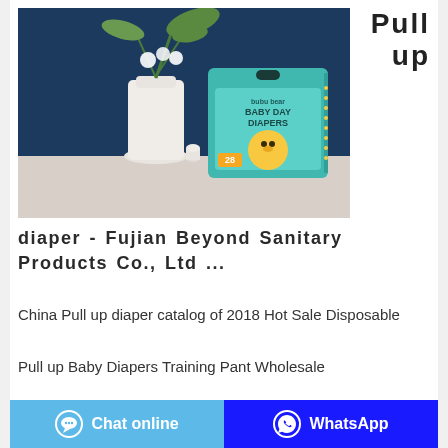[Figure (photo): Product photo of bubu bear Baby Day Diapers box on a white surface with a dark blue background and white flower vase with green plant]
Pull up
diaper - Fujian Beyond Sanitary Products Co., Ltd ...
China Pull up diaper catalog of 2018 Hot Sale Disposable Pull up Baby Diapers Training Pant Wholesale Manufacturer China Factory, China Products/Suppliers. OEM Private Label Baby Training Pants Manufacturer in Quanzhou provided by China manufacturer - Fujian Beyond Sanitary Products Co., Ltd, page2
Chat online   WhatsApp